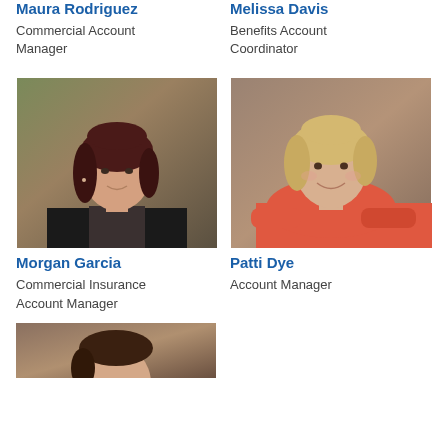Maura Rodriguez
Commercial Account Manager
Melissa Davis
Benefits Account Coordinator
[Figure (photo): Professional headshot of Morgan Garcia, a woman with long dark red hair wearing a black blazer over a sparkly top, photographed outdoors against a stone and ivy background.]
[Figure (photo): Professional headshot of Patti Dye, a woman with short blonde hair wearing a coral/red blouse with arms crossed, smiling, photographed outdoors.]
Morgan Garcia
Commercial Insurance Account Manager
Patti Dye
Account Manager
[Figure (photo): Partial view of another person's professional headshot, cropped at bottom of page.]